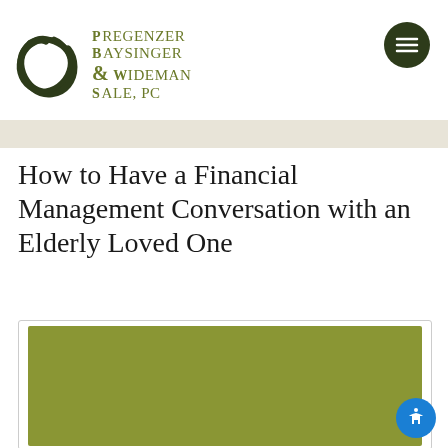[Figure (logo): Pregenzer Baysinger & Wideman Sale, PC law firm logo with circular dark olive green wreath/vine design and firm name in olive green text]
How to Have a Financial Management Conversation with an Elderly Loved One
[Figure (photo): Olive/khaki green rectangular image placeholder, likely a photo related to elderly financial management]